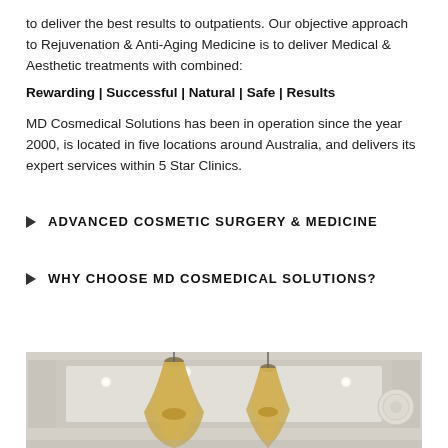to deliver the best results to outpatients. Our objective approach to Rejuvenation & Anti-Aging Medicine is to deliver Medical & Aesthetic treatments with combined:
Rewarding | Successful | Natural | Safe | Results
MD Cosmedical Solutions has been in operation since the year 2000, is located in five locations around Australia, and delivers its expert services within 5 Star Clinics.
ADVANCED COSMETIC SURGERY & MEDICINE
WHY CHOOSE MD COSMEDICAL SOLUTIONS?
[Figure (photo): Interior photo of an elegant clinic reception area with ornate pendant chandeliers and white coffered ceiling with recessed lighting.]